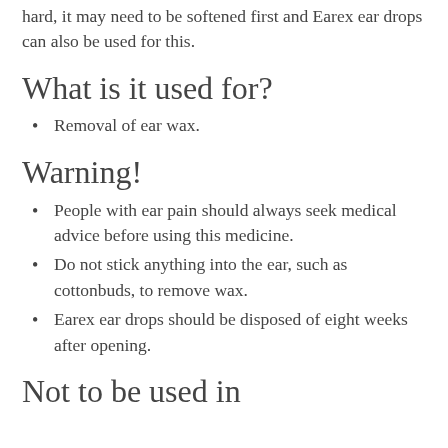hard, it may need to be softened first and Earex ear drops can also be used for this.
What is it used for?
Removal of ear wax.
Warning!
People with ear pain should always seek medical advice before using this medicine.
Do not stick anything into the ear, such as cottonbuds, to remove wax.
Earex ear drops should be disposed of eight weeks after opening.
Not to be used in